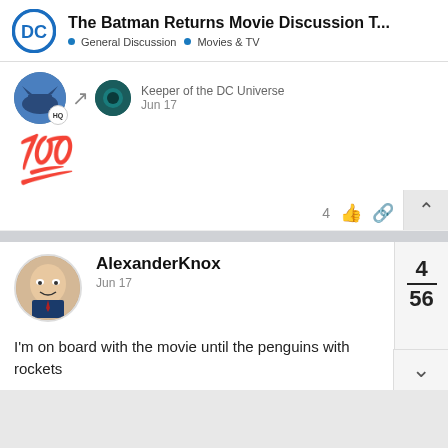The Batman Returns Movie Discussion T... • General Discussion • Movies & TV
[Figure (screenshot): First post with avatar, Keeper of the DC Universe label, Jun 17 date, 100 emoji, 4 likes]
[Figure (screenshot): Second post by AlexanderKnox, Jun 17, post 4 of 56, I'm on board with the movie until the penguins with rockets]
I'm on board with the movie until the penguins with rockets